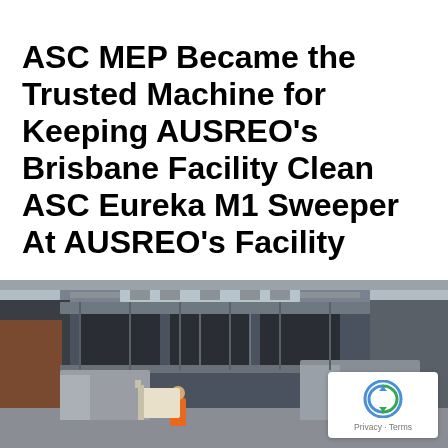ASC MEP Became the Trusted Machine for Keeping AUSREO's Brisbane Facility Clean ASC Eureka M1 Sweeper At AUSREO's Facility
Steel Manufacturing. Warehouse AUSREO is Australia's fastest-growing supplier of reinforced steel used in the building industry. With warehouses scattered all over Australia, the need to keep their facilities clean is a huge task. Cutting, grinding and distributing reinforced steel is a dirty business. Pictured here is AUSREO's latest addition to their war on dust. The Brisbane branch's invested in an ASC MEP sweeper that has been designed to make cleaning effortless and their floors are now as dust-free as possible.
› READ MORE
[Figure (photo): Photograph of a warehouse/industrial facility exterior with trucks and equipment visible, and a person in an orange vest visible in the foreground]